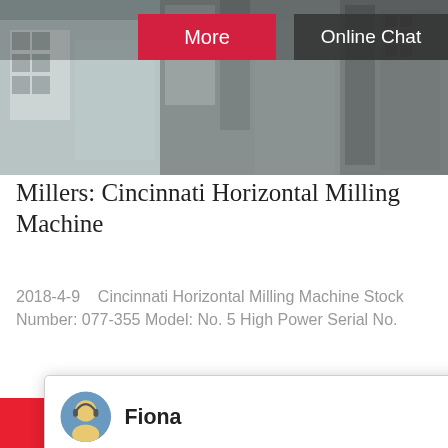[Figure (photo): Top banner showing industrial milling machine equipment in a factory setting, with two overlaid buttons: 'More' (red) and 'Online Chat' (dark grey)]
Millers: Cincinnati Horizontal Milling Machine
2018-4-9    Cincinnati Horizontal Milling Machine Stock Number: 077-355 Model: No. 5 High Power Serial No.
[Figure (screenshot): Live chat popup overlay showing avatar of agent 'Fiona' with message: 'Hello, I am Fiona, I am very glad to talk with you!' and a close (X) button]
[Figure (photo): Bottom left: industrial machinery photo (red conveyor or equipment structure against blue sky). Bottom right: customer service agent photo with headset, blue badge with '1', 'Need questions & suggestion?' text, and 'Chat Now' red button]
Chat Online
Enquire